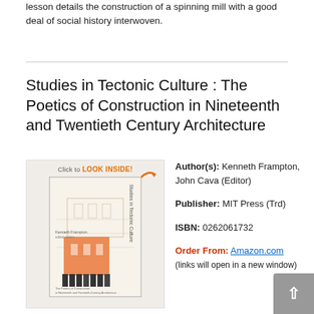lesson details the construction of a spinning mill with a good deal of social history interwoven.
Studies in Tectonic Culture : The Poetics of Construction in Nineteenth and Twentieth Century Architecture
[Figure (photo): Book cover thumbnail for 'Studies in Tectonic Culture' by Kenneth Frampton, with a 'Click to LOOK INSIDE!' banner and orange arrow overlay.]
Author(s): Kenneth Frampton, John Cava (Editor)
Publisher: MIT Press (Trd)
ISBN: 0262061732
Order From: Amazon.com (links will open in a new window)